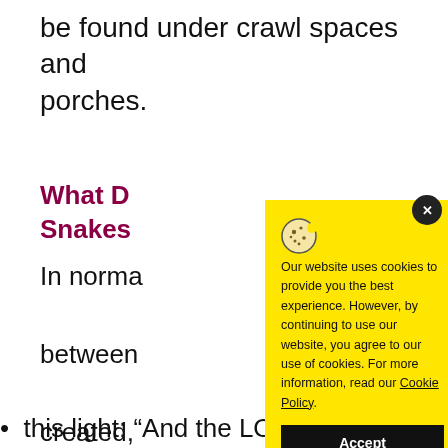be found under crawl spaces and porches.
What D[o] Snakes[...]
In norma[l circumstances,] between[...] created, [...] God curs[ed...]
[Figure (screenshot): Cookie consent popup with yellow background. Text reads: 'Our website uses cookies to provide you the best experience. However, by continuing to use our website, you agree to our use of cookies. For more information, read our Cookie Policy.' With an Accept button and a close (x) button.]
x. this light: "And the LORD God said